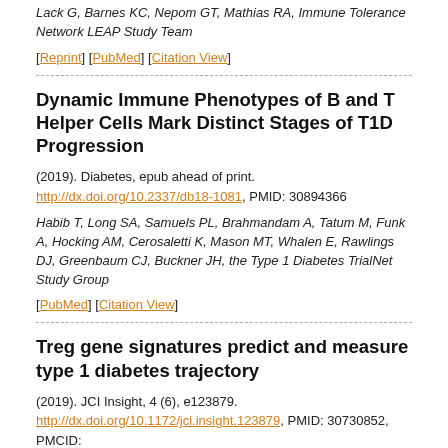Lack G, Barnes KC, Nepom GT, Mathias RA, Immune Tolerance Network LEAP Study Team
[Reprint] [PubMed] [Citation View]
Dynamic Immune Phenotypes of B and T Helper Cells Mark Distinct Stages of T1D Progression
(2019). Diabetes, epub ahead of print. http://dx.doi.org/10.2337/db18-1081, PMID: 30894366
Habib T, Long SA, Samuels PL, Brahmandam A, Tatum M, Funk A, Hocking AM, Cerosaletti K, Mason MT, Whalen E, Rawlings DJ, Greenbaum CJ, Buckner JH, the Type 1 Diabetes TrialNet Study Group
[PubMed] [Citation View]
Treg gene signatures predict and measure type 1 diabetes trajectory
(2019). JCI Insight, 4 (6), e123879. http://dx.doi.org/10.1172/jci.insight.123879, PMID: 30730852, PMCID: PMC6483884